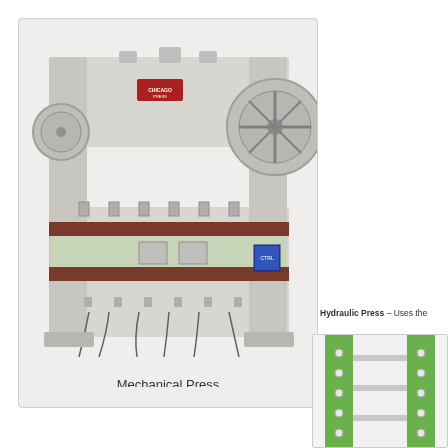[Figure (photo): Large industrial mechanical press machine, horizontal orientation, painted off-white/grey, with visible rollers, flywheel, ram, and control boxes. Chicago brand label visible.]
Mechanical Press
Hydraulic Press – Uses the
[Figure (photo): Partial view of a green hydraulic press machine, showing vertical green frame with bolt holes.]